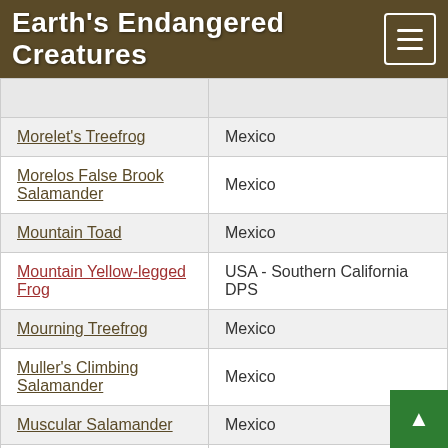Earth's Endangered Creatures
| Species | Location |
| --- | --- |
| Morelet's Treefrog | Mexico |
| Morelos False Brook Salamander | Mexico |
| Mountain Toad | Mexico |
| Mountain Yellow-legged Frog | USA - Southern California DPS |
| Mourning Treefrog | Mexico |
| Muller's Climbing Salamander | Mexico |
| Muscular Salamander | Mexico |
| Mustache False Brook Salamander | Mexico |
| Neuse River Waterdog | North Carolina |